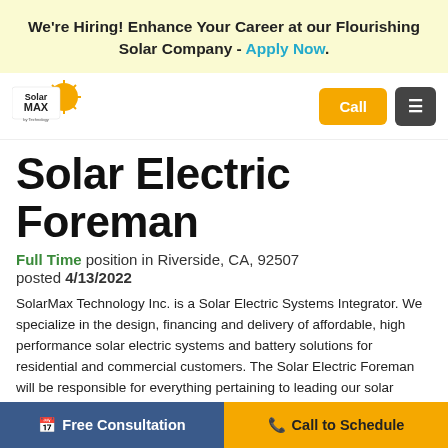We're Hiring! Enhance Your Career at our Flourishing Solar Company - Apply Now.
[Figure (logo): SolarMAX logo with yellow sun graphic]
Solar Electric Foreman
Full Time position in Riverside, CA, 92507
posted 4/13/2022
SolarMax Technology Inc. is a Solar Electric Systems Integrator. We specialize in the design, financing and delivery of affordable, high performance solar electric systems and battery solutions for residential and commercial customers. The Solar Electric Foreman will be responsible for everything pertaining to leading our solar
Free Consultation  Call to Schedule